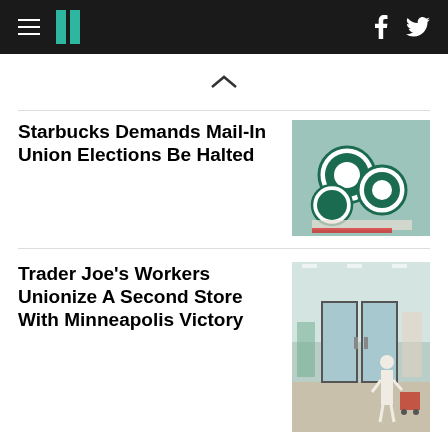HuffPost navigation bar with hamburger menu, logo, Facebook and Twitter icons
Starbucks Demands Mail-In Union Elections Be Halted
[Figure (photo): Photo of Starbucks Workers United union pins/buttons on documents]
Trader Joe’s Workers Unionize A Second Store With Minneapolis Victory
[Figure (photo): Photo of person entering a Trader Joe’s store through glass sliding doors]